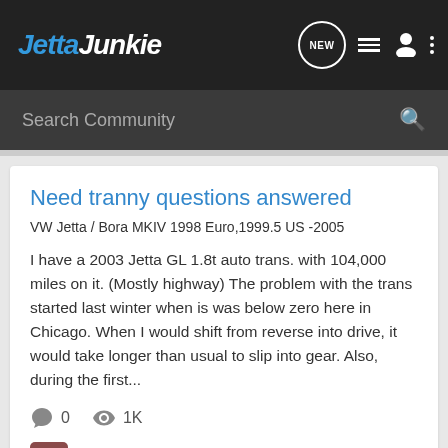Jetta Junkie
Search Community
Need tranny questions answered
VW Jetta / Bora MKIV 1998 Euro,1999.5 US -2005
I have a 2003 Jetta GL 1.8t auto trans. with 104,000 miles on it. (Mostly highway) The problem with the trans started last winter when is was below zero here in Chicago. When I would shift from reverse into drive, it would take longer than usual to slip into gear. Also, during the first...
0   1K
BretW · Jul 17, 2009
tranny
transmission
1-12 of 12 Results